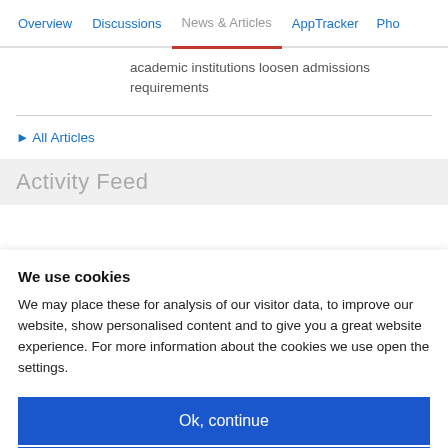Overview | Discussions | News & Articles | AppTracker | Pho...
academic institutions loosen admissions requirements
All Articles
Activity Feed
We use cookies
We may place these for analysis of our visitor data, to improve our website, show personalised content and to give you a great website experience. For more information about the cookies we use open the settings.
Ok, continue
Deny
No, adjust